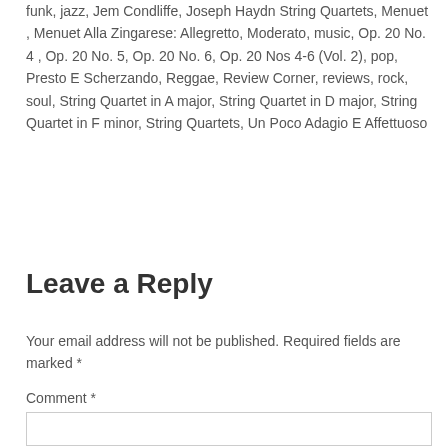funk, jazz, Jem Condliffe, Joseph Haydn String Quartets, Menuet, Menuet Alla Zingarese: Allegretto, Moderato, music, Op. 20 No. 4, Op. 20 No. 5, Op. 20 No. 6, Op. 20 Nos 4-6 (Vol. 2), pop, Presto E Scherzando, Reggae, Review Corner, reviews, rock, soul, String Quartet in A major, String Quartet in D major, String Quartet in F minor, String Quartets, Un Poco Adagio E Affettuoso
Leave a Reply
Your email address will not be published. Required fields are marked *
Comment *